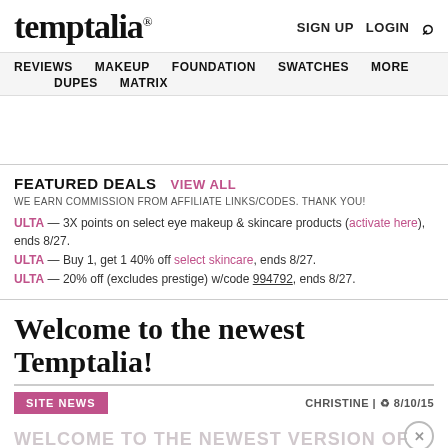temptalia® | SIGN UP  LOGIN 🔍
REVIEWS  MAKEUP  FOUNDATION  SWATCHES  MORE  DUPES  MATRIX
FEATURED DEALS  VIEW ALL
WE EARN COMMISSION FROM AFFILIATE LINKS/CODES. THANK YOU!
ULTA — 3X points on select eye makeup & skincare products (activate here), ends 8/27.
ULTA — Buy 1, get 1 40% off select skincare, ends 8/27.
ULTA — 20% off (excludes prestige) w/code 994792, ends 8/27.
Welcome to the newest Temptalia!
SITE NEWS   CHRISTINE | 🔃 8/10/15
WELCOME TO THE NEWEST VERSION OF